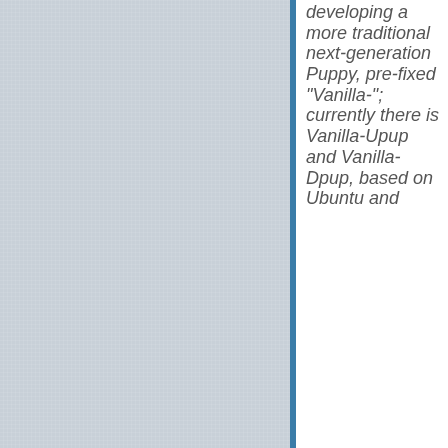[Figure (photo): Light grey linen or fabric texture filling the left two-thirds of the page]
developing a more traditional next-generation Puppy, pre-fixed "Vanilla-"; currently there is Vanilla-Upup and Vanilla-Dpup, based on Ubuntu and